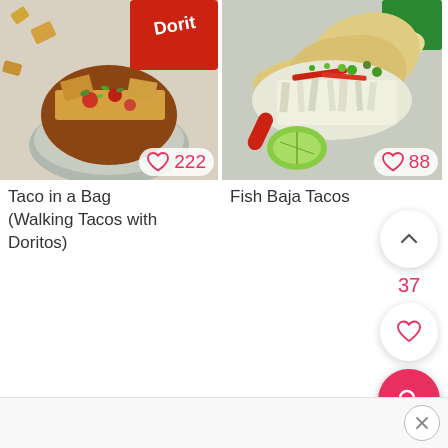[Figure (photo): Photo of Taco in a Bag (Walking Tacos with Doritos) - topped with meat, red tomatoes, green cilantro in foil with Doritos bag in background]
222
Taco in a Bag (Walking Tacos with Doritos)
[Figure (photo): Photo of Fish Baja Tacos - fish tacos with shredded cabbage, red peppers, cilantro, lime, in flour tortillas]
88
Fish Baja Tacos
37